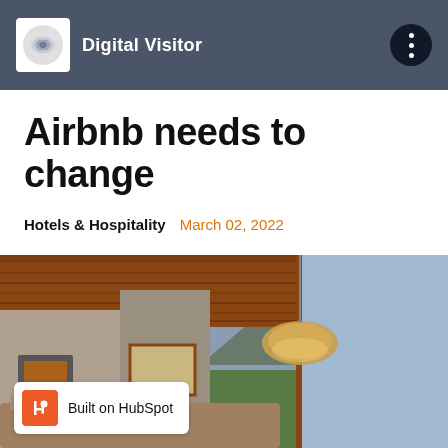Digital Visitor
Airbnb needs to change
Hotels & Hospitality   March 02, 2022
[Figure (photo): Interior of a luxury lodge/Airbnb property with wood-paneled ceiling, pendant lamp, mountain view through large windows]
Built on HubSpot